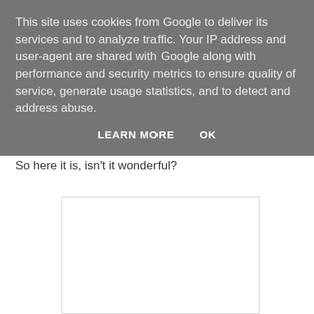This site uses cookies from Google to deliver its services and to analyze traffic. Your IP address and user-agent are shared with Google along with performance and security metrics to ensure quality of service, generate usage statistics, and to detect and address abuse.
LEARN MORE   OK
So here it is, isn't it wonderful?
[Figure (other): Empty white rectangle with light border, likely an advertisement placeholder]